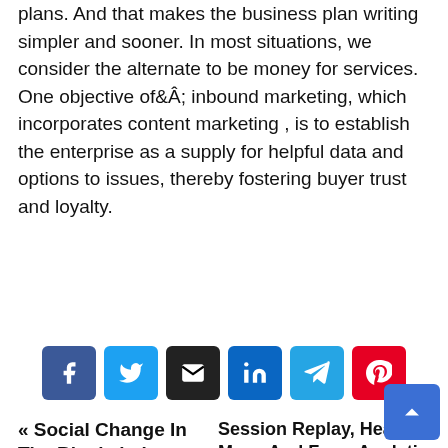plans. And that makes the business plan writing simpler and sooner. In most situations, we consider the alternate to be money for services. One objective ofÂ inbound marketing, which incorporates content marketing , is to establish the enterprise as a supply for helpful data and options to issues, thereby fostering buyer trust and loyalty.
[Figure (other): Row of six social share buttons: Facebook (dark blue), Twitter (light blue), Email (black), LinkedIn (blue), Telegram (cyan), Pinterest (red), each with a white icon.]
« Social Change In The Blockchain Area
Session Replay, Heat Maps And Form Analytics Mixed With Superior Reporting Instruments »